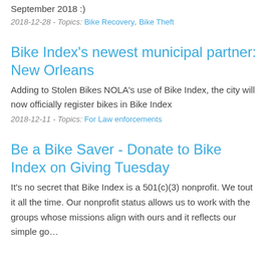Hey! Here's 40+ awesome stories of recovered bikes from September 2018 :)
2018-12-28 - Topics: Bike Recovery, Bike Theft
Bike Index's newest municipal partner: New Orleans
Adding to Stolen Bikes NOLA's use of Bike Index, the city will now officially register bikes in Bike Index
2018-12-11 - Topics: For Law enforcements
Be a Bike Saver - Donate to Bike Index on Giving Tuesday
It's no secret that Bike Index is a 501(c)(3) nonprofit. We tout it all the time. Our nonprofit status allows us to work with the groups whose missions align with ours and it reflects our simple go…